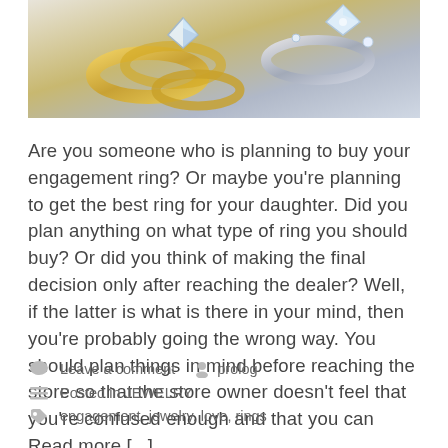[Figure (photo): Photograph of diamond engagement rings and wedding bands, including gold and silver rings with diamond settings]
Are you someone who is planning to buy your engagement ring? Or maybe you're planning to get the best ring for your daughter. Did you plan anything on what type of ring you should buy? Or did you think of making the final decision only after reaching the dealer? Well, if the latter is what is there in your mind, then you're probably going the wrong way. You should plan things in mind before reaching the store so that the store owner doesn't feel that you're confused enough and that you can Read more [...]
Leave a comment   prolog
Posted in JEWELRY
engagement, jewelry, love, rings